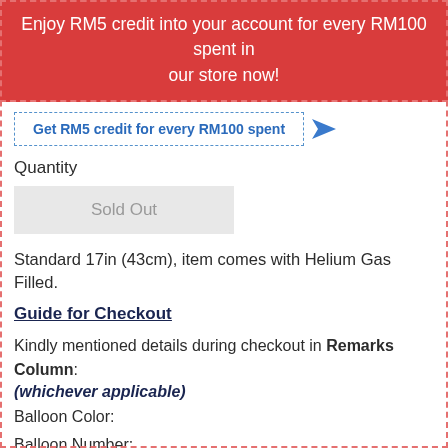Enjoy RM5 credit into your account for every RM100 spent in our store now!
Get RM5 credit for every RM100 spent
Quantity
Sold Out
Standard 17in (43cm), item comes with Helium Gas Filled.
Guide for Checkout
Kindly mentioned details during checkout in Remarks Column: (whichever applicable)
Balloon Color:
Balloon Number:
Wording on Balloon: